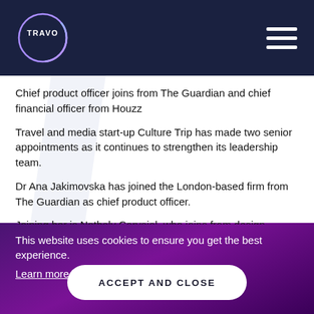TRAVO
Chief product officer joins from The Guardian and chief financial officer from Houzz
Travel and media start-up Culture Trip has made two senior appointments as it continues to strengthen its leadership team.
Dr Ana Jakimovska has joined the London-based firm from The Guardian as chief product officer.
Joining her is Nathaly Carvajal, who joins from design unicorn Houzz, as Culture Trip’s chief financial officer.
This website uses cookies to ensure you get the best experience. Learn more
ACCEPT AND CLOSE